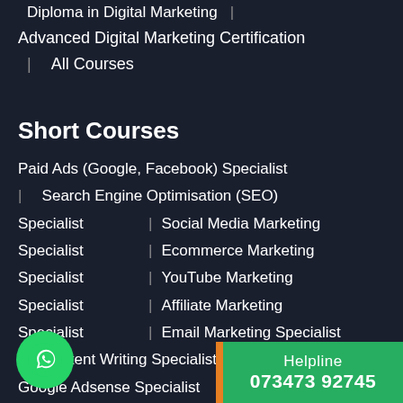Diploma in Digital Marketing  |
Advanced Digital Marketing Certification
|   All Courses
Short Courses
Paid Ads (Google, Facebook) Specialist
|   Search Engine Optimisation (SEO) Specialist
|   Social Media Marketing Specialist
|   Ecommerce Marketing Specialist
|   YouTube Marketing Specialist
|   Affiliate Marketing Specialist
|   Email Marketing Specialist
|   Content Writing Specialist
Google Adsense Specialist
Helpline 073473 92745